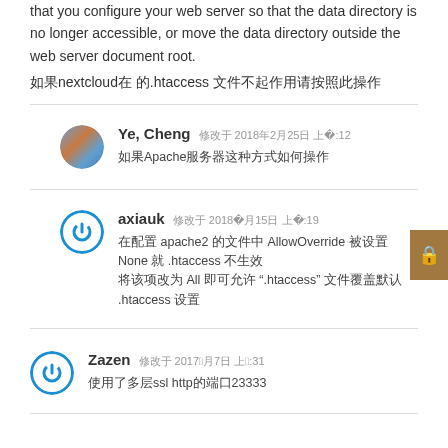that you configure your web server so that the data directory is no longer accessible, or move the data directory outside the web server document root.
nextcloud .htaccess
Ye, Cheng  2018年2月25日 上午11:12
Apache
axiauk  2018年11月15日 上午10:19
apache2 AllowOverride None .htaccess All ".htaccess" .htaccess
Zazen  2017年5月7日 上午2:31
ssl http 23333